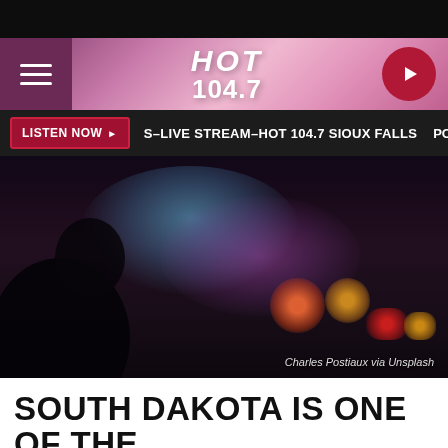HOT 104.7
LISTEN NOW ▶  S–LIVE STREAM–HOT 104.7 SIOUX FALLS  POPC
[Figure (photo): Dark blurry photo taken from inside a car, showing bokeh lights of traffic at night — red, orange, blue and purple light blobs — silhouette of person/headrest in foreground. Credit: Charles Postiaux via Unsplash]
Charles Postiaux via Unsplash
SOUTH DAKOTA IS ONE OF THE